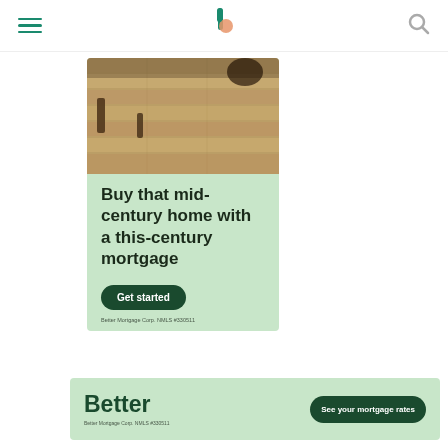Better mortgage – navigation header with hamburger menu, logo, and search icon
[Figure (photo): Mid-century modern bedroom floor with wood-look planks and furniture legs visible]
Buy that mid-century home with a this-century mortgage
Get started
Better Mortgage Corp. NMLS #330511
Ad
[Figure (logo): Better mortgage logo and banner ad with 'See your mortgage rates' button]
Better Mortgage Corp. NMLS #330511